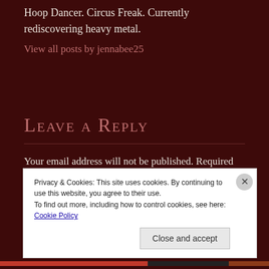Hoop Dancer. Circus Freak. Currently rediscovering heavy metal.
View all posts by jennabee25
Leave a Reply
Your email address will not be published. Required
Privacy & Cookies: This site uses cookies. By continuing to use this website, you agree to their use.
To find out more, including how to control cookies, see here: Cookie Policy
Close and accept